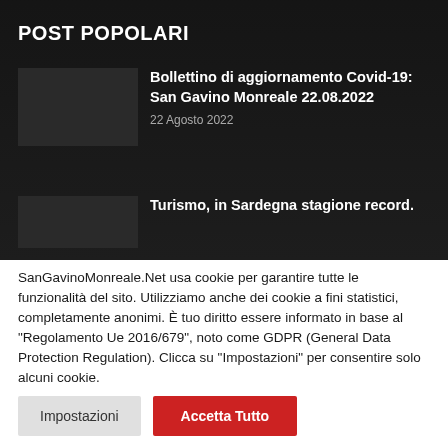POST POPOLARI
Bollettino di aggiornamento Covid-19: San Gavino Monreale 22.08.2022
22 Agosto 2022
Turismo, in Sardegna stagione record.
SanGavinoMonreale.Net usa cookie per garantire tutte le funzionalità del sito. Utilizziamo anche dei cookie a fini statistici, completamente anonimi. È tuo diritto essere informato in base al "Regolamento Ue 2016/679", noto come GDPR (General Data Protection Regulation). Clicca su "Impostazioni" per consentire solo alcuni cookie.
Impostazioni
Accetta Tutto